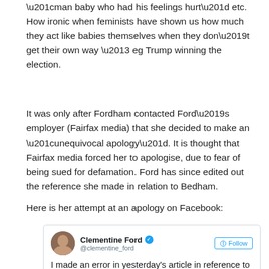“man baby who had his feelings hurt” etc. How ironic when feminists have shown us how much they act like babies themselves when they don’t get their own way – eg Trump winning the election.
It was only after Fordham contacted Ford’s employer (Fairfax media) that she decided to make an “unequivocal apology”. It is thought that Fairfax media forced her to apologise, due to fear of being sued for defamation. Ford has since edited out the reference she made in relation to Bedham.
Here is her attempt at an apology on Facebook:
[Figure (screenshot): A Twitter/social media post by Clementine Ford (@clementine_ford) with a verified badge and Follow button. Post text reads: 'I made an error in yesterday’s article in reference to @BenFordham. Clarification and']